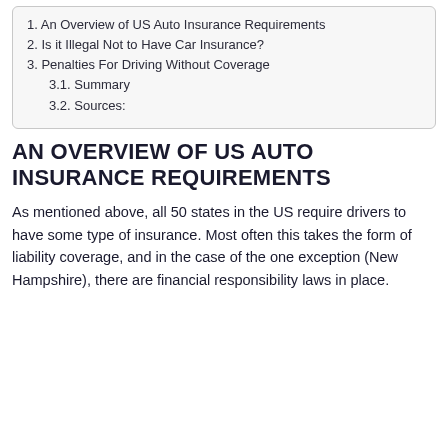1. An Overview of US Auto Insurance Requirements
2. Is it Illegal Not to Have Car Insurance?
3. Penalties For Driving Without Coverage
3.1. Summary
3.2. Sources:
AN OVERVIEW OF US AUTO INSURANCE REQUIREMENTS
As mentioned above, all 50 states in the US require drivers to have some type of insurance. Most often this takes the form of liability coverage, and in the case of the one exception (New Hampshire), there are financial responsibility laws in place.